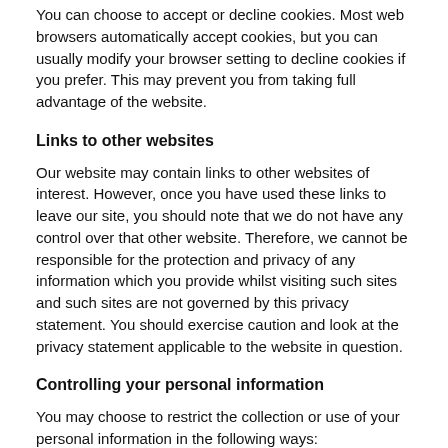You can choose to accept or decline cookies. Most web browsers automatically accept cookies, but you can usually modify your browser setting to decline cookies if you prefer. This may prevent you from taking full advantage of the website.
Links to other websites
Our website may contain links to other websites of interest. However, once you have used these links to leave our site, you should note that we do not have any control over that other website. Therefore, we cannot be responsible for the protection and privacy of any information which you provide whilst visiting such sites and such sites are not governed by this privacy statement. You should exercise caution and look at the privacy statement applicable to the website in question.
Controlling your personal information
You may choose to restrict the collection or use of your personal information in the following ways:
whenever you are asked to fill in a form on the website, look for the box that you can click to indicate